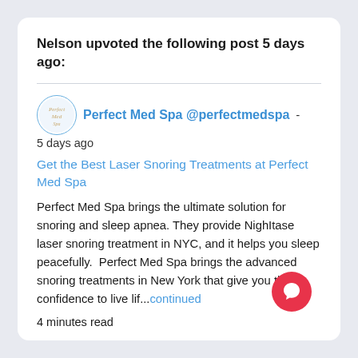Nelson upvoted the following post 5 days ago:
[Figure (logo): Perfect Med Spa circular logo with script text]
Perfect Med Spa @perfectmedspa - 5 days ago
Get the Best Laser Snoring Treatments at Perfect Med Spa
Perfect Med Spa brings the ultimate solution for snoring and sleep apnea. They provide NighItase laser snoring treatment in NYC, and it helps you sleep peacefully.  Perfect Med Spa brings the advanced snoring treatments in New York that give you the confidence to live lif...continued
4 minutes read